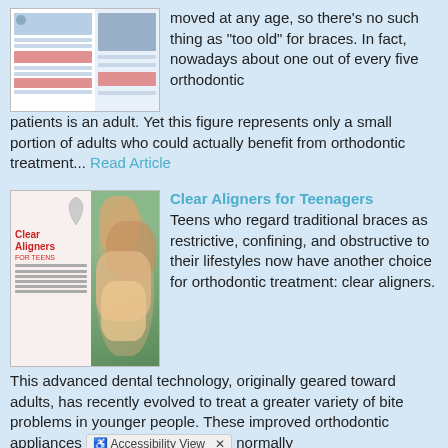[Figure (illustration): Thumbnail of a dental/orthodontic magazine article page with columns and pink highlighted sections]
moved at any age, so there's no such thing as “too old” for braces. In fact, nowadays about one out of every five orthodontic patients is an adult. Yet this figure represents only a small portion of adults who could actually benefit from orthodontic treatment... Read Article
[Figure (illustration): Thumbnail image showing Clear Aligners for Teens article cover on left (with aligner device) and group of smiling teens on right]
Clear Aligners for Teenagers
Teens who regard traditional braces as restrictive, confining, and obstructive to their lifestyles now have another choice for orthodontic treatment: clear aligners. This advanced dental technology, originally geared toward adults, has recently evolved to treat a greater variety of bite problems in younger people. These improved orthodontic appliances normally